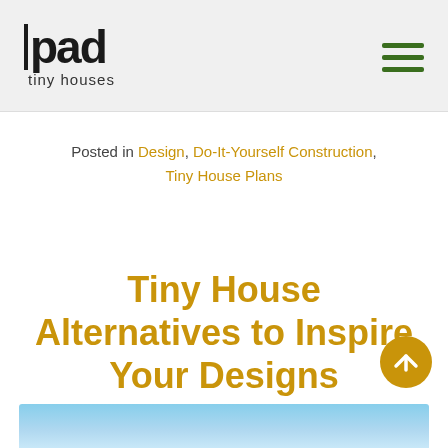pad tiny houses
Posted in Design, Do-It-Yourself Construction, Tiny House Plans
Tiny House Alternatives to Inspire Your Designs
Posted on May 19, 2017
[Figure (photo): Partial view of a photo with blue sky and clouds at the bottom of the page]